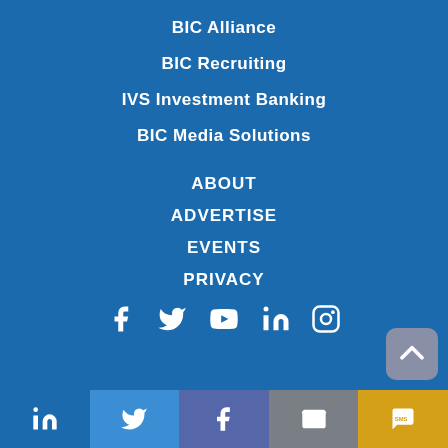BIC Alliance
BIC Recruiting
IVS Investment Banking
BIC Media Solutions
ABOUT
ADVERTISE
EVENTS
PRIVACY
[Figure (infographic): Social media icons row: Facebook, Twitter, YouTube, LinkedIn, Instagram]
[Figure (infographic): Back to top button (chevron up)]
[Figure (infographic): Bottom share bar with LinkedIn, Twitter, Facebook, Email, SMS icons]